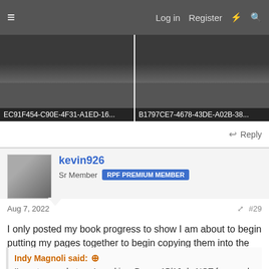Log in  Register
[Figure (photo): Two dark thumbnail images side by side with long hex filename captions: EC91F454-C90E-4F31-A1ED-16... and B1797CE7-4678-43DE-A02B-38...]
Reply
kevin926
Sr Member  RPF PREMIUM MEMBER
Aug 7, 2022  #29
I only posted my book progress to show I am about to begin putting my pages together to begin copying them into the book using carbon paper and pencil to cover over with ink.
Im having issues with alignment though.
Indy Magnoli said:
I'm not sure what you're asking. Pages 15/16 do NOT face each other.